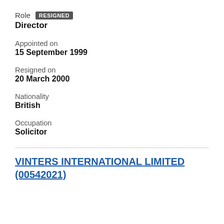Role  RESIGNED
Director
Appointed on
15 September 1999
Resigned on
20 March 2000
Nationality
British
Occupation
Solicitor
VINTERS INTERNATIONAL LIMITED (00542021)